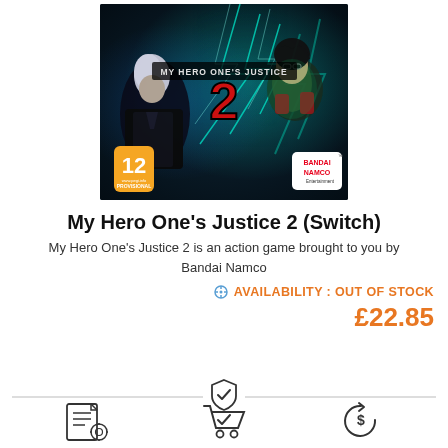[Figure (photo): My Hero One's Justice 2 game cover art for Nintendo Switch showing anime characters with lightning effects, PEGI 12 rating badge, and Bandai Namco Entertainment logo]
My Hero One's Justice 2 (Switch)
My Hero One's Justice 2 is an action game brought to you by Bandai Namco
AVAILABILITY : OUT OF STOCK
£22.85
[Figure (infographic): Three icons showing delivery, secure checkout, and returns/cashback, with a shield checkmark icon in the center above a dividing line]